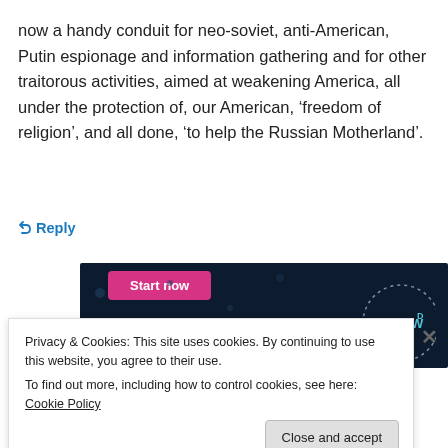now a handy conduit for neo-soviet, anti-American, Putin espionage and information gathering and for other traitorous activities, aimed at weakening America, all under the protection of, our American, ‘freedom of religion’, and all done, ‘to help the Russian Motherland’.
↳ Reply
[Figure (screenshot): Advertisement banner with dark navy background, a pink 'Start now' button, and a circular dotted logo reading 'CROWD']
Privacy & Cookies: This site uses cookies. By continuing to use this website, you agree to their use.
To find out more, including how to control cookies, see here: Cookie Policy
Close and accept